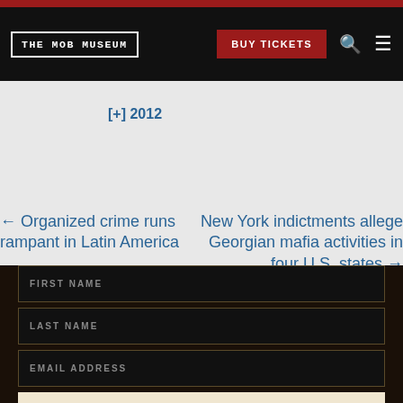THE MOB MUSEUM | BUY TICKETS
[+] 2012
← Organized crime runs rampant in Latin America
New York indictments allege Georgian mafia activities in four U.S. states →
FIRST NAME
LAST NAME
EMAIL ADDRESS
GET ALL THE INSIDER INFORMATION